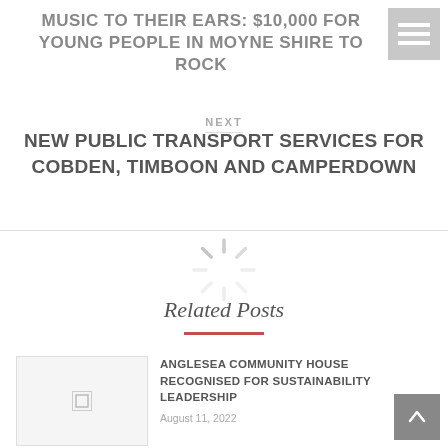MUSIC TO THEIR EARS: $10,000 FOR YOUNG PEOPLE IN MOYNE SHIRE TO ROCK
NEXT
NEW PUBLIC TRANSPORT SERVICES FOR COBDEN, TIMBOON AND CAMPERDOWN
[Figure (other): Loading spinner graphic]
Related Posts
[Figure (photo): Thumbnail image placeholder for related post]
ANGLESEA COMMUNITY HOUSE RECOGNISED FOR SUSTAINABILITY LEADERSHIP
August 11, 2022